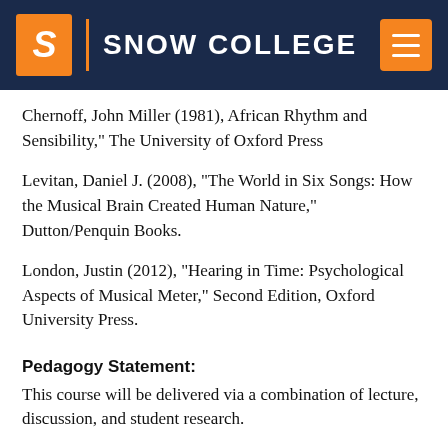SNOW COLLEGE
Chernoff, John Miller (1981), African Rhythm and Sensibility," The University of Oxford Press
Levitan, Daniel J. (2008), "The World in Six Songs: How the Musical Brain Created Human Nature," Dutton/Penquin Books.
London, Justin (2012), "Hearing in Time: Psychological Aspects of Musical Meter," Second Edition, Oxford University Press.
Pedagogy Statement:
This course will be delivered via a combination of lecture, discussion, and student research.